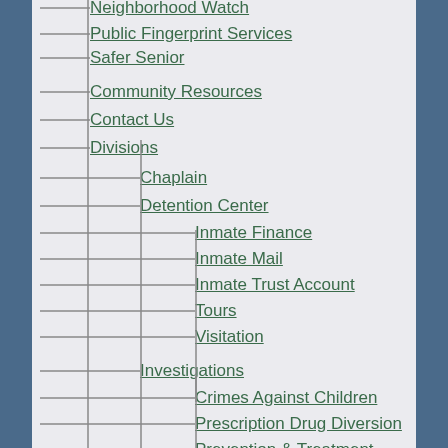Neighborhood Watch
Public Fingerprint Services
Safer Senior
Community Resources
Contact Us
Divisions
Chaplain
Detention Center
Inmate Finance
Inmate Mail
Inmate Trust Account
Tours
Visitation
Investigations
Crimes Against Children
Prescription Drug Diversion
Prevention & Treatment